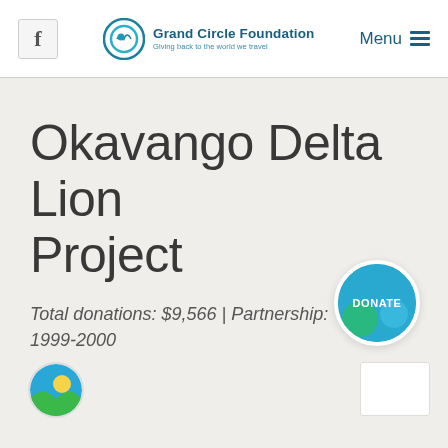f | Grand Circle Foundation — Giving back to the world we travel | Menu
Okavango Delta Lion Project
Total donations: $9,566 | Partnership: 1999-2000
[Figure (logo): Small circular logo with green hill and sun on blue background]
[Figure (other): White rectangular box, partially visible]